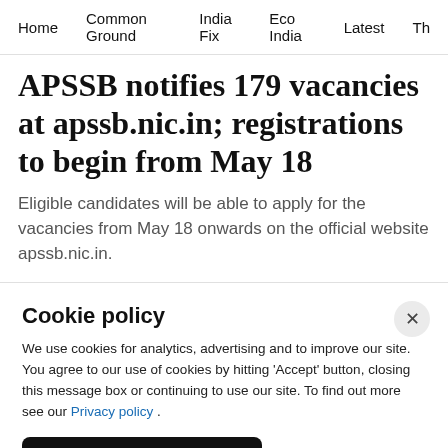Home   Common Ground   India Fix   Eco India   Latest   Th
APSSB notifies 179 vacancies at apssb.nic.in; registrations to begin from May 18
Eligible candidates will be able to apply for the vacancies from May 18 onwards on the official website apssb.nic.in.
Cookie policy
We use cookies for analytics, advertising and to improve our site. You agree to our use of cookies by hitting 'Accept' button, closing this message box or continuing to use our site. To find out more see our Privacy policy .